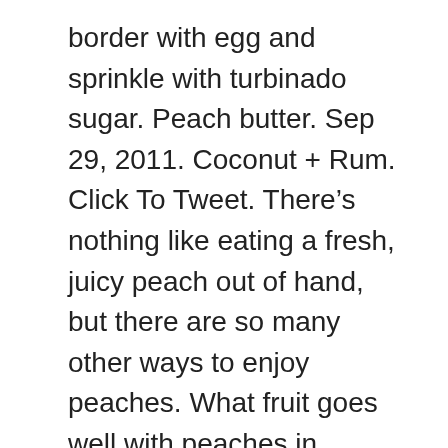border with egg and sprinkle with turbinado sugar. Peach butter. Sep 29, 2011. Coconut + Rum. Click To Tweet. There's nothing like eating a fresh, juicy peach out of hand, but there are so many other ways to enjoy peaches. What fruit goes well with peaches in cake? These fruits produce ethylene, a gas that accelerates ripening. I'm going to layer them, and plan on using peaches with the frosting inside. Great Fruit and Cheese Pairings You Should Try Before You Die. There's something special about the mixture of flaky crust, cinnamon, and fresh peaches baked to perfection. Any of the following fruits would go well with watermelon: Cantaloupe; Honeydew melon; Nectarines;